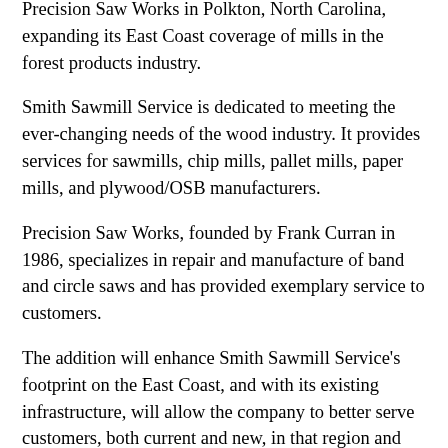Precision Saw Works in Polkton, North Carolina, expanding its East Coast coverage of mills in the forest products industry.
Smith Sawmill Service is dedicated to meeting the ever-changing needs of the wood industry. It provides services for sawmills, chip mills, pallet mills, paper mills, and plywood/OSB manufacturers.
Precision Saw Works, founded by Frank Curran in 1986, specializes in repair and manufacture of band and circle saws and has provided exemplary service to customers.
The addition will enhance Smith Sawmill Service's footprint on the East Coast, and with its existing infrastructure, will allow the company to better serve customers, both current and new, in that region and beyond.